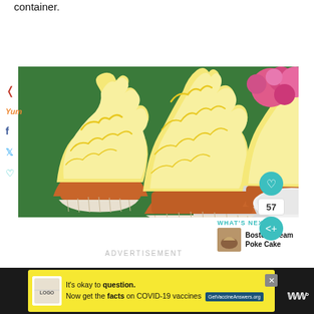container.
[Figure (photo): Close-up photo of three cupcakes with elaborate yellow/cream frosting swirls, with pink flowers in the background. Social sharing icons (Pinterest, Yummly, Facebook, Twitter, heart) are overlaid on the left side. A teal heart button and share button with count 57 are on the right side.]
WHAT'S NEXT →
Boston Cream Poke Cake
ADVERTISEMENT
It's okay to question.
Now get the facts on COVID-19 vaccines  GetVaccineAnswers.org